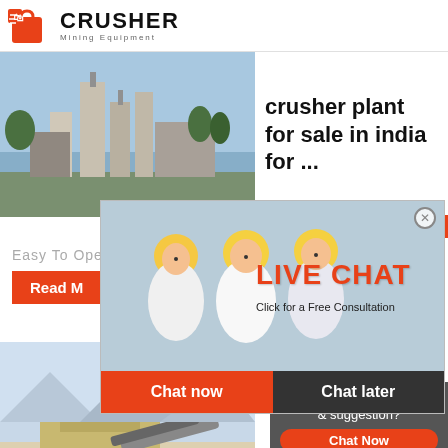[Figure (logo): Crusher Mining Equipment logo with red shopping bag icon and bold CRUSHER text]
[Figure (photo): Industrial crusher plant facility with silos and equipment]
crusher plant for sale in india for ...
24Hrs Online
Easy To Ope
Read M
[Figure (photo): Live Chat popup overlay with workers in yellow hard hats, LIVE CHAT heading, Click for a Free Consultation text, Chat now and Chat later buttons]
[Figure (photo): Stone crusher plant machinery in outdoor quarry setting]
Stone Crusher Plants Stone
Need questions & suggestion?
Chat Now
Enquiry
limingjlmofen@sina.com